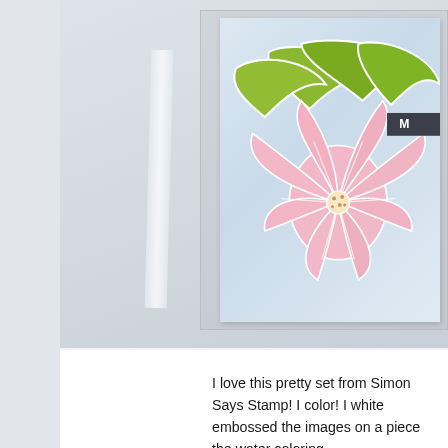[Figure (photo): A handmade greeting card featuring white-embossed pink poinsettia flowers and green leaves on a light blue-gray watercolored background, with a small dark gray label visible in the upper right corner showing the letter M. The card is displayed on a gray background with a partial white ribbon element.]
I love this pretty set from Simon Says Stamp! I color! I white embossed the images on a piece the water coloring.